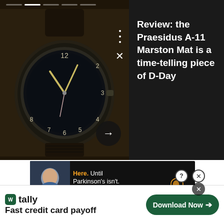[Figure (screenshot): Screenshot of a website article preview showing a dark watch (Praesidus A-11 Marston Mat) on the left with article title on the right]
Review: the Praesidus A-11 Marston Mat is a time-telling piece of D-Day
[Figure (screenshot): Advertisement banner for The Michael J. Fox Foundation for Parkinson's Research. Text: Here. Until Parkinson's isn't. JOIN US]
Grainger, a global leading supplier of facilities
[Figure (screenshot): Tally app advertisement: Fast credit card payoff. Download Now button. With question and close buttons.]